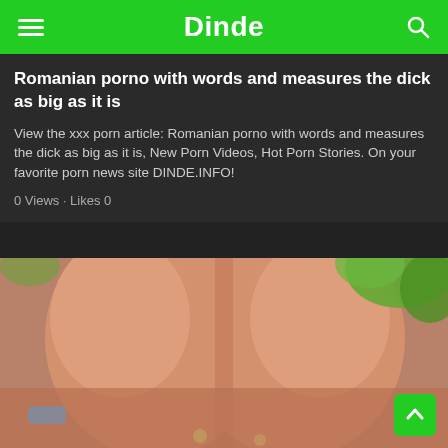Dinde
Romanian porno with words and measures the dick as big as it is
View the xxx porn article: Romanian porno with words and measures the dick as big as it is, New Porn Videos, Hot Porn Stories. On your favorite porn news site DINDE.INFO!
0 Views · Likes 0
[Figure (photo): Close-up outdoor photo showing a person's torso, skin tones with green foliage visible in the background top right.]